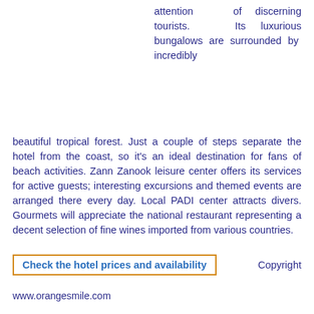attention of discerning tourists. Its luxurious bungalows are surrounded by incredibly beautiful tropical forest. Just a couple of steps separate the hotel from the coast, so it's an ideal destination for fans of beach activities. Zann Zanook leisure center offers its services for active guests; interesting excursions and themed events are arranged there every day. Local PADI center attracts divers. Gourmets will appreciate the national restaurant representing a decent selection of fine wines imported from various countries.
Check the hotel prices and availability
Copyright
www.orangesmile.com